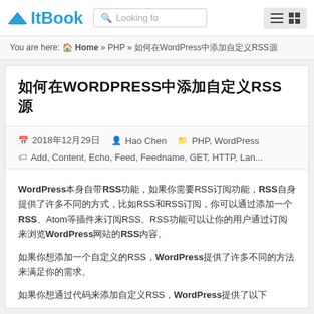ItBook — Looking for... — menu
You are here: Home » PHP » 如何在WordPress中添加自定义RSS源
如何在WORDPRESS中添加自定义RSS源
2018年12月29日  Hao Chen  PHP, WordPress
Add, Content, Echo, Feed, Feedname, GET, HTTP, Lan...
WordPress本身自带RSS功能，如果你需要RSS订阅功能，RSS自身提供了许多不同的方式，比如RSS和RSS订阅，你可以通过添加一个RSS、Atom等插件来订阅RSS。RSS功能可以让你的用户通过订阅来浏览WordPress网站的RSS内容。
如果你想添加一个自定义的RSS，WordPress提供了许多不同的方法来满足你的需求。
如果你想通过代码来添加自定义RSS，WordPress提供了以下